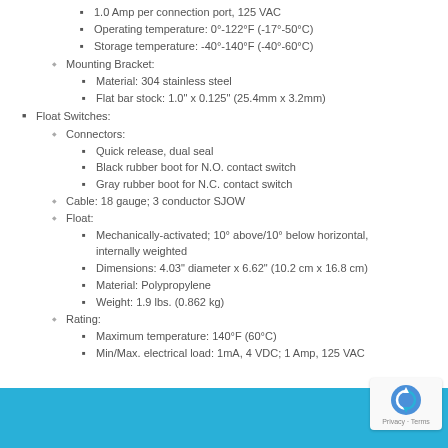1.0 Amp per connection port, 125 VAC
Operating temperature: 0°-122°F (-17°-50°C)
Storage temperature: -40°-140°F (-40°-60°C)
Mounting Bracket:
Material: 304 stainless steel
Flat bar stock: 1.0" x 0.125" (25.4mm x 3.2mm)
Float Switches:
Connectors:
Quick release, dual seal
Black rubber boot for N.O. contact switch
Gray rubber boot for N.C. contact switch
Cable: 18 gauge; 3 conductor SJOW
Float:
Mechanically-activated; 10° above/10° below horizontal, internally weighted
Dimensions: 4.03" diameter x 6.62" (10.2 cm x 16.8 cm)
Material: Polypropylene
Weight: 1.9 lbs. (0.862 kg)
Rating:
Maximum temperature: 140°F (60°C)
Min/Max. electrical load: 1mA, 4 VDC; 1 Amp, 125 VAC